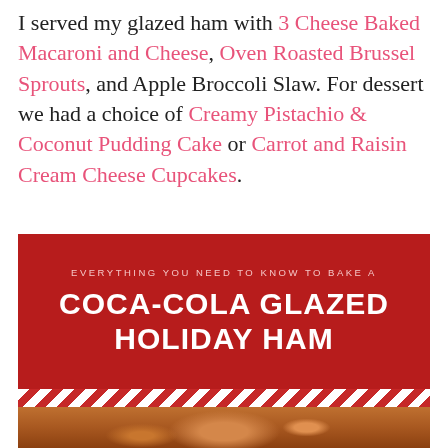I served my glazed ham with 3 Cheese Baked Macaroni and Cheese, Oven Roasted Brussel Sprouts, and Apple Broccoli Slaw. For dessert we had a choice of Creamy Pistachio & Coconut Pudding Cake or Carrot and Raisin Cream Cheese Cupcakes.
[Figure (infographic): Red banner infographic reading 'EVERYTHING YOU NEED TO KNOW TO BAKE A' in small caps above large bold text 'COCA-COLA GLAZED HOLIDAY HAM', followed by a diagonal red-and-white stripe bar, and below that a photo of a glazed holiday ham.]